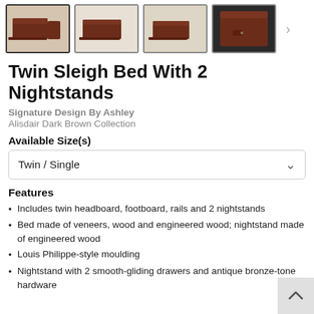[Figure (photo): Four thumbnail images of a Twin Sleigh Bed with 2 Nightstands in dark brown finish, showing different angles of the furniture set.]
Twin Sleigh Bed With 2 Nightstands
Signature Design By Ashley
Alisdair Dark Brown Collection
Available Size(s)
Twin / Single
Features
Includes twin headboard, footboard, rails and 2 nightstands
Bed made of veneers, wood and engineered wood; nightstand made of engineered wood
Louis Philippe-style moulding
Nightstand with 2 smooth-gliding drawers and antique bronze-tone hardware